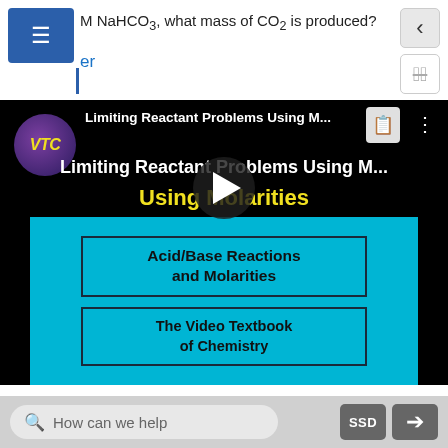M NaHCO3, what mass of CO2 is produced?
er
[Figure (screenshot): YouTube video thumbnail for 'Limiting Reactant Problems Using Molarities' by VTC (Video Textbook of Chemistry). Shows VTC logo, video title in yellow text, play button, and a cyan box with text 'Acid/Base Reactions and Molarities' and 'The Video Textbook of Chemistry'.]
Limiting Reactant Problems Using Molarities: Limiting Reactant Problems Using Molarities, YouTube(opens in new window) [youtu.be]eOXTliL-gNw (opens in new
How can we help